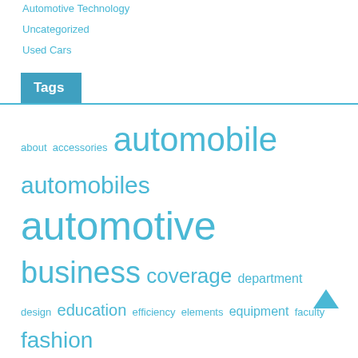Automotive Technology
Uncategorized
Used Cars
Tags
about accessories automobile automobiles automotive business coverage department design education efficiency elements equipment faculty fashion finance headlights health hubcaps ideas illegal improvement india information insurance legal leisure modification modifications modified modify modifying mortgage online protection retailer safety software state technology travel tuning unlawful